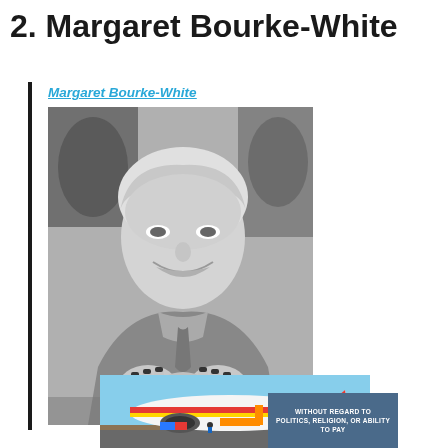2. Margaret Bourke-White
Margaret Bourke-White
[Figure (photo): Black and white portrait photograph of Margaret Bourke-White, smiling, with hands clasped, seated in front of artwork]
[Figure (photo): Color photograph of Southwest Airlines airplane on tarmac being loaded with cargo]
WITHOUT REGARD TO
POLITICS, RELIGION, OR ABILITY TO PAY